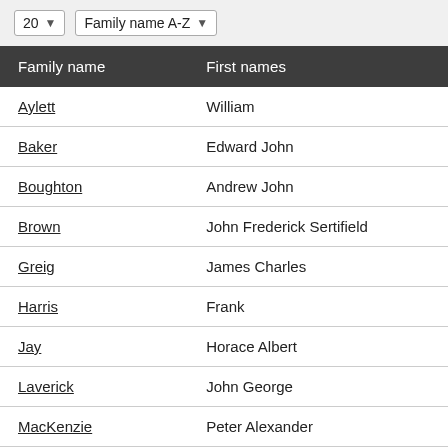| Family name | First names |
| --- | --- |
| Aylett | William |
| Baker | Edward John |
| Boughton | Andrew John |
| Brown | John Frederick Sertifield |
| Greig | James Charles |
| Harris | Frank |
| Jay | Horace Albert |
| Laverick | John George |
| MacKenzie | Peter Alexander |
| McMillan | Charles William |